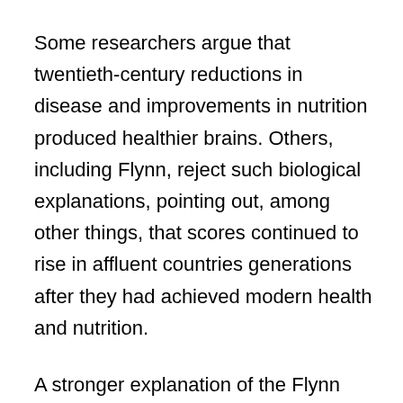Some researchers argue that twentieth-century reductions in disease and improvements in nutrition produced healthier brains. Others, including Flynn, reject such biological explanations, pointing out, among other things, that scores continued to rise in affluent countries generations after they had achieved modern health and nutrition.
A stronger explanation of the Flynn Effect is that we do better abstract thinking than our ancestors did because our social environments promote abstraction. Universal extended schooling trains many more people in abstract thought, be it through Algebra I or role-playing in social studies classes. Modern work tasks, such as